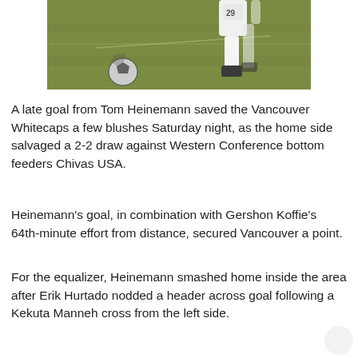[Figure (photo): Soccer player wearing number 29 white jersey and white socks running on a grass field, with a soccer ball visible in the lower left portion of the image.]
A late goal from Tom Heinemann saved the Vancouver Whitecaps a few blushes Saturday night, as the home side salvaged a 2-2 draw against Western Conference bottom feeders Chivas USA.
Heinemann's goal, in combination with Gershon Koffie's 64th-minute effort from distance, secured Vancouver a point.
For the equalizer, Heinemann smashed home inside the area after Erik Hurtado nodded a header across goal following a Kekuta Manneh cross from the left side.